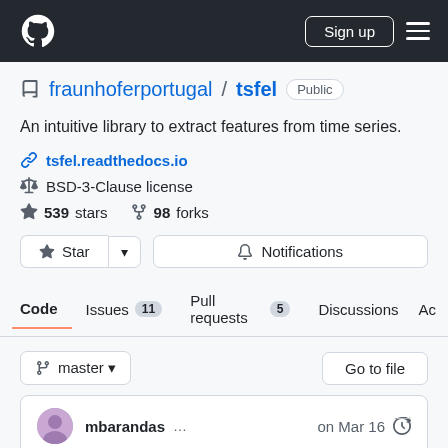GitHub navigation bar with logo, Sign up button, and menu
fraunhoferportugal / tsfel  Public
An intuitive library to extract features from time series.
tsfel.readthedocs.io
BSD-3-Clause license
539 stars   98 forks
Star  Notifications
Code  Issues 11  Pull requests 5  Discussions  Ac...
master  Go to file
mbarandas ...  on Mar 16